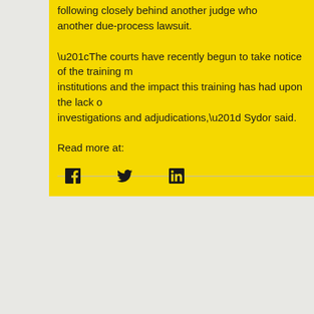following closely behind another judge who another due-process lawsuit.
“The courts have recently begun to take notice of the training m institutions and the impact this training has had upon the lack o investigations and adjudications,” Sydor said.
Read more at:
[Figure (illustration): Social media share icons: Facebook (f), Twitter (bird), LinkedIn (in)]